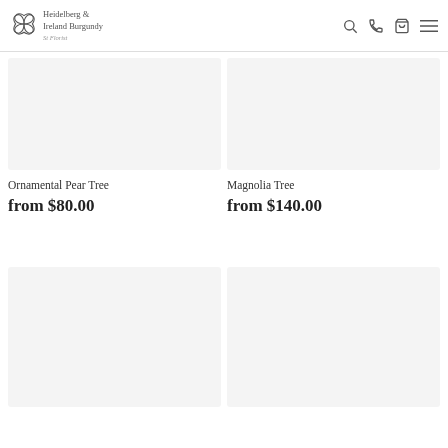Heidelberg & Ireland Burgundy St Florist
[Figure (photo): Product image placeholder for Ornamental Pear Tree (light grey box)]
Ornamental Pear Tree
from $80.00
[Figure (photo): Product image placeholder for Magnolia Tree (light grey box)]
Magnolia Tree
from $140.00
[Figure (photo): Product image placeholder (bottom left, light grey box)]
[Figure (photo): Product image placeholder (bottom right, light grey box)]